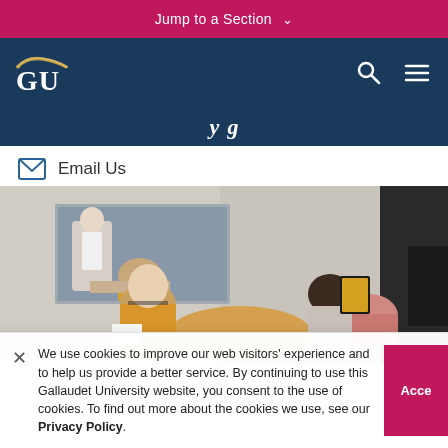Jump to a Section ∨
[Figure (logo): Gallaudet University GU logo with gold arc and white GU letters on dark navy background, with search and hamburger menu icons]
...y...g...
✉ Email Us
[Figure (photo): Two women sitting at a round table in what appears to be a testing or counseling room with a one-way mirror. A third person is visible through the mirror in an adjacent observation room. One woman holds papers, the other holds up a card or image.]
We use cookies to improve our web visitors' experience and to help us provide a better service. By continuing to use this Gallaudet University website, you consent to the use of cookies. To find out more about the cookies we use, see our Privacy Policy.